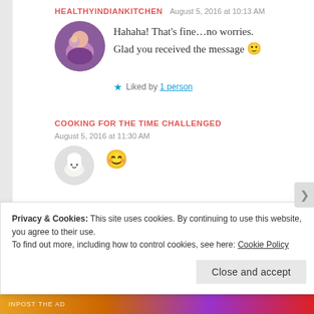HEALTHYINDIANKITCHEN  August 5, 2016 at 10:13 AM
Hahaha! That's fine…no worries. Glad you received the message 🙂
★ Liked by 1 person
COOKING FOR THE TIME CHALLENGED
August 5, 2016 at 11:30 AM
😊
Privacy & Cookies: This site uses cookies. By continuing to use this website, you agree to their use. To find out more, including how to control cookies, see here: Cookie Policy
Close and accept